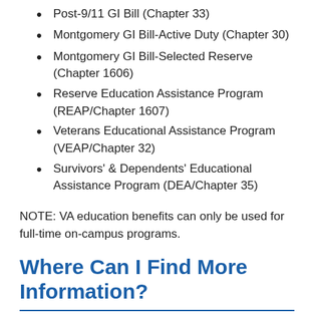Post-9/11 GI Bill (Chapter 33)
Montgomery GI Bill-Active Duty (Chapter 30)
Montgomery GI Bill-Selected Reserve (Chapter 1606)
Reserve Education Assistance Program (REAP/Chapter 1607)
Veterans Educational Assistance Program (VEAP/Chapter 32)
Survivors' & Dependents' Educational Assistance Program (DEA/Chapter 35)
NOTE: VA education benefits can only be used for full-time on-campus programs.
Where Can I Find More Information?
Students can access their information and submit